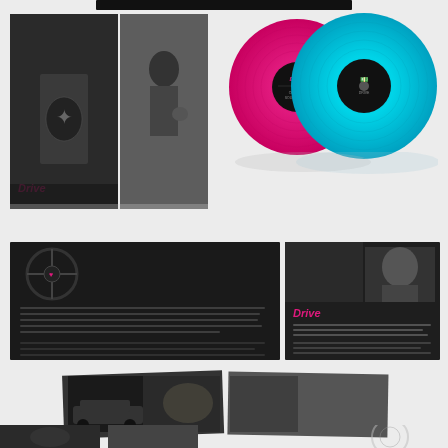[Figure (photo): Product photo of Drive movie soundtrack vinyl record box set. Shows: top black bar/spine; upper section with gatefold album cover featuring scorpion jacket man and black-and-white film stills, plus two vinyl records (hot pink/magenta and turquoise/cyan blue) with black center labels; middle section showing two inner sleeve panels (dark backgrounds with Drive title in pink, liner notes text, and movie imagery); lower section showing open booklet with black-and-white car-in-alley photograph; bottom partial view of additional items. Background is light gray.]